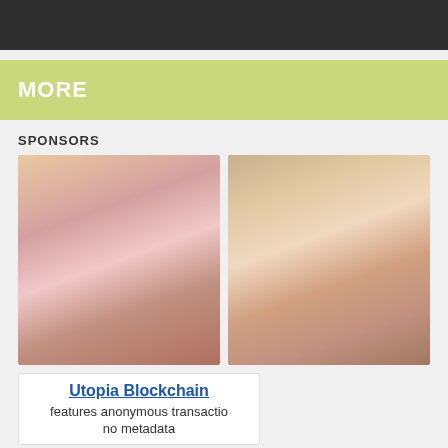[Figure (other): Dark banner image at top of page]
MORE
SPONSORS
[Figure (photo): Adult content photo on the left]
[Figure (photo): Adult content photo on the right]
Utopia Blockchain
features anonymous transactio
no metadata